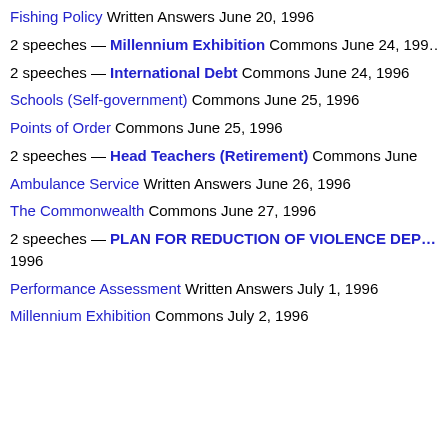Fishing Policy Written Answers June 20, 1996
2 speeches — Millennium Exhibition Commons June 24, 1996
2 speeches — International Debt Commons June 24, 1996
Schools (Self-government) Commons June 25, 1996
Points of Order Commons June 25, 1996
2 speeches — Head Teachers (Retirement) Commons June
Ambulance Service Written Answers June 26, 1996
The Commonwealth Commons June 27, 1996
2 speeches — PLAN FOR REDUCTION OF VIOLENCE DEPT... 1996
Performance Assessment Written Answers July 1, 1996
Millennium Exhibition Commons July 2, 1996